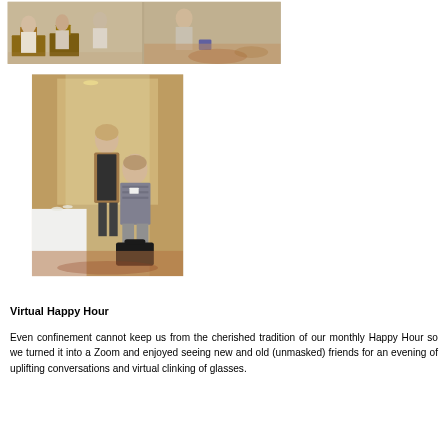[Figure (photo): Two photos of people at a social gathering or event, seated at tables in an elegant room with patterned carpet]
[Figure (photo): Two women posed together in an elegant room with curtains and white-clothed tables, one standing and one seated]
Virtual Happy Hour
Even confinement cannot keep us from the cherished tradition of our monthly Happy Hour so we turned it into a Zoom and enjoyed seeing new and old (unmasked) friends for an evening of uplifting conversations and virtual clinking of glasses.